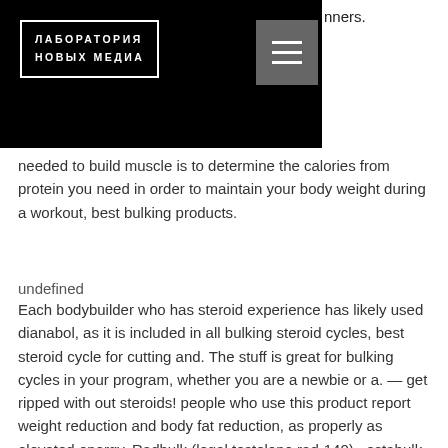[Figure (logo): Logo of Лаборатория Новых Медиа (Laboratory of New Media) — white text in a white-bordered box on black background, with a hamburger menu button to the right]
…nners.
needed to build muscle is to determine the calories from protein you need in order to maintain your body weight during a workout, best bulking products.
undefined
Each bodybuilder who has steroid experience has likely used dianabol, as it is included in all bulking steroid cycles, best steroid cycle for cutting and. The stuff is great for bulking cycles in your program, whether you are a newbie or a. — get ripped with out steroids! people who use this product report weight reduction and body fat reduction, as properly as elevated energy. Radbulk (legal testolone rad-140) · ostabulk (legal ostarine mk-2866) · andalean (legal andarine s-4) · ligabulk (legal ligandrol). It